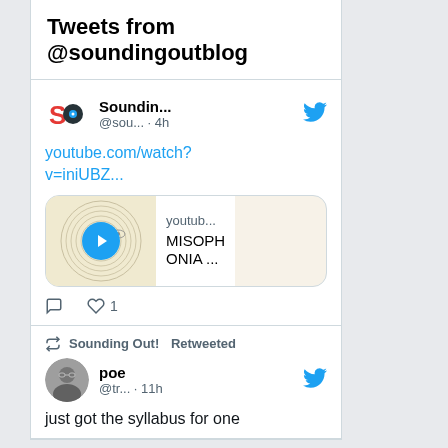Tweets from @soundingoutblog
Soundin... @sou... · 4h
youtube.com/watch?v=iniUBZ...
[Figure (screenshot): YouTube video thumbnail with play button, showing vinyl record image. Text shows 'youtub...' and 'MISOPHONIA ...']
1 like
Sounding Out! Retweeted
poe @tr... · 11h
just got the syllabus for one